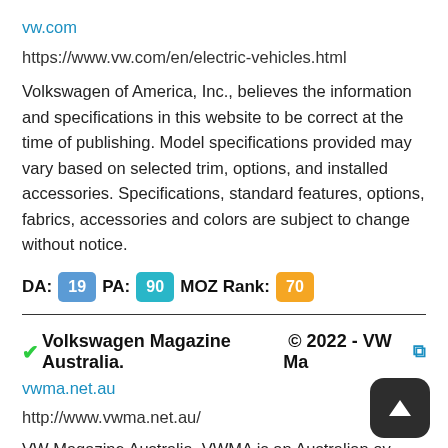vw.com
https://www.vw.com/en/electric-vehicles.html
Volkswagen of America, Inc., believes the information and specifications in this website to be correct at the time of publishing. Model specifications provided may vary based on selected trim, options, and installed accessories. Specifications, standard features, options, fabrics, accessories and colors are subject to change without notice.
DA: 19 PA: 90 MOZ Rank: 70
✔Volkswagen Magazine Australia. © 2022 - VW Ma
vwma.net.au
http://www.vwma.net.au/
VW Magazine Australia. VWMA is an Australian ov and published enthusiasts magazine serving both the